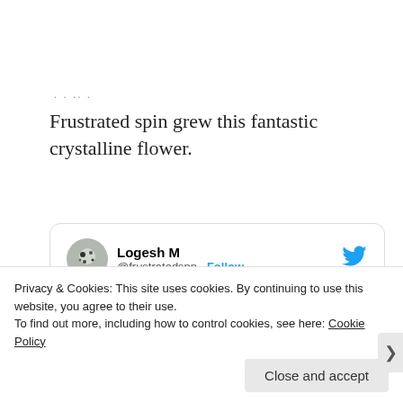• • •• •
Frustrated spin grew this fantastic crystalline flower.
[Figure (screenshot): Embedded tweet card from @frustratedspn (Logesh M) with text 'From the kingdom of crystalline flowers.' and Twitter bird logo]
Privacy & Cookies: This site uses cookies. By continuing to use this website, you agree to their use.
To find out more, including how to control cookies, see here: Cookie Policy
Close and accept